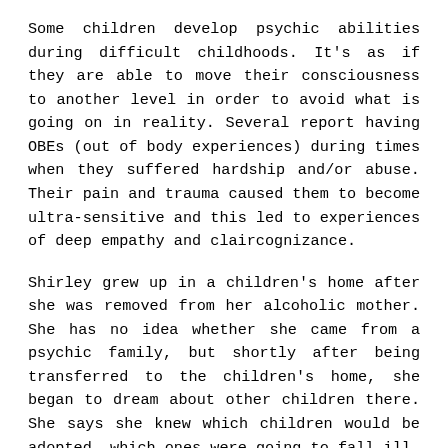Some children develop psychic abilities during difficult childhoods. It's as if they are able to move their consciousness to another level in order to avoid what is going on in reality. Several report having OBEs (out of body experiences) during times when they suffered hardship and/or abuse. Their pain and trauma caused them to become ultra-sensitive and this led to experiences of deep empathy and claircognizance.
Shirley grew up in a children's home after she was removed from her alcoholic mother. She has no idea whether she came from a psychic family, but shortly after being transferred to the children's home, she began to dream about other children there. She says she knew which children would be adopted, which ones were going to fall ill. She even dreamed about one boy tripping and breaking his leg. In every case she was right. She didn't, however, foresee her own adoption at the age of eight.